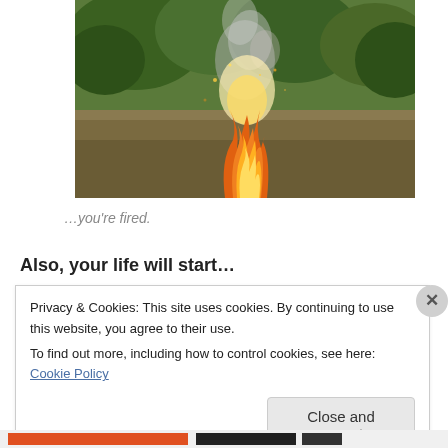[Figure (photo): A wildfire burning on dry grass ground with trees in the background and smoke rising. Flames are orange and visible in the lower center of the image.]
…you're fired.
Also, your life will start…
Privacy & Cookies: This site uses cookies. By continuing to use this website, you agree to their use.
To find out more, including how to control cookies, see here: Cookie Policy
Close and accept